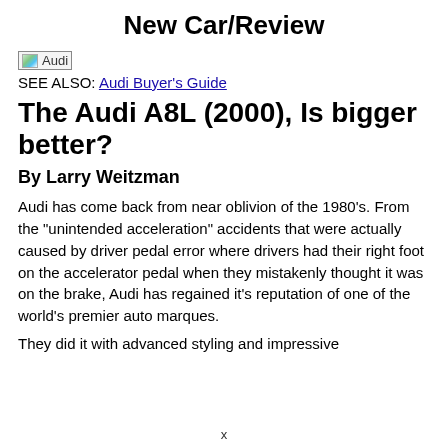New Car/Review
[Figure (photo): Audi image placeholder (broken image icon labeled 'Audi')]
SEE ALSO: Audi Buyer's Guide
The Audi A8L (2000), Is bigger better?
By Larry Weitzman
Audi has come back from near oblivion of the 1980's. From the "unintended acceleration" accidents that were actually caused by driver pedal error where drivers had their right foot on the accelerator pedal when they mistakenly thought it was on the brake, Audi has regained it's reputation of one of the world's premier auto marques.
They did it with advanced styling and impressive